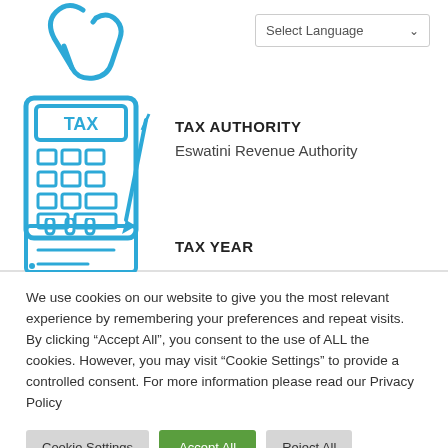[Figure (illustration): Blue hand/cursor icon at top left]
[Figure (illustration): Blue tax calculator icon with pencil]
TAX AUTHORITY
Eswatini Revenue Authority
[Figure (illustration): Blue calendar/notebook icon]
TAX YEAR
We use cookies on our website to give you the most relevant experience by remembering your preferences and repeat visits. By clicking “Accept All”, you consent to the use of ALL the cookies. However, you may visit “Cookie Settings” to provide a controlled consent. For more information please read our Privacy Policy
Cookie Settings
Accept All
Reject All